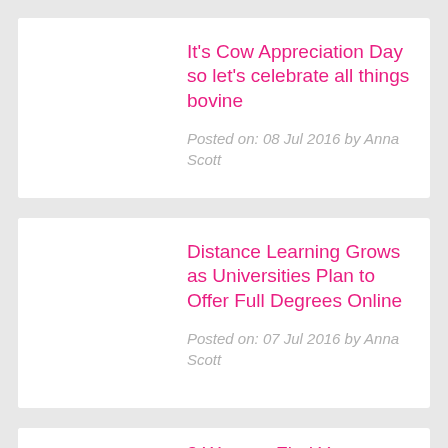It's Cow Appreciation Day so let's celebrate all things bovine
Posted on: 08 Jul 2016 by Anna Scott
Distance Learning Grows as Universities Plan to Offer Full Degrees Online
Posted on: 07 Jul 2016 by Anna Scott
3 Ways to Find Your Perfect